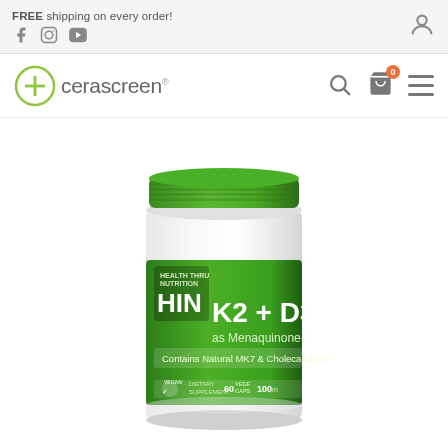FREE shipping on every order!
[Figure (logo): Cerascreen brand logo with green circle plus icon and text 'cerascreen']
[Figure (photo): HIN K2 + D3 as Menaquinone dietary supplement bottle with green cap and label, 60 vege caps, 100mg, contains Natural MK7 & Cholecalciferol, Vegan]